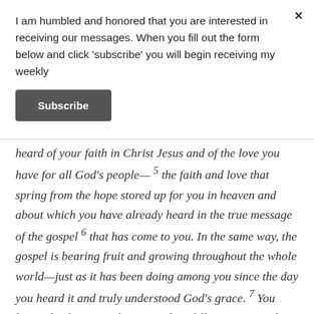I am humbled and honored that you are interested in receiving our messages. When you fill out the form below and click ‘subscribe’ you will begin receiving my weekly
Subscribe
heard of your faith in Christ Jesus and of the love you have for all God’s people— 5 the faith and love that spring from the hope stored up for you in heaven and about which you have already heard in the true message of the gospel 6 that has come to you. In the same way, the gospel is bearing fruit and growing throughout the whole world—just as it has been doing among you since the day you heard it and truly understood God’s grace. 7 You learned it from Epaphras, our dear fellow servant, who is a